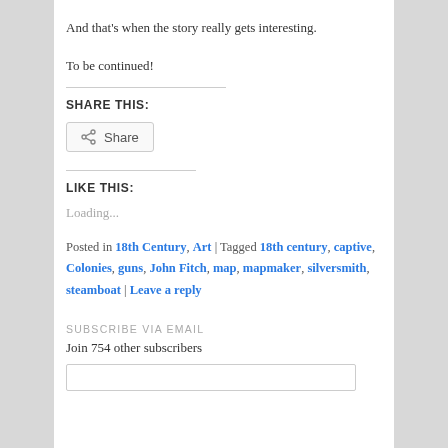And that's when the story really gets interesting.
To be continued!
SHARE THIS:
[Figure (other): Share button with share icon]
LIKE THIS:
Loading...
Posted in 18th Century, Art | Tagged 18th century, captive, Colonies, guns, John Fitch, map, mapmaker, silversmith, steamboat | Leave a reply
SUBSCRIBE VIA EMAIL
Join 754 other subscribers